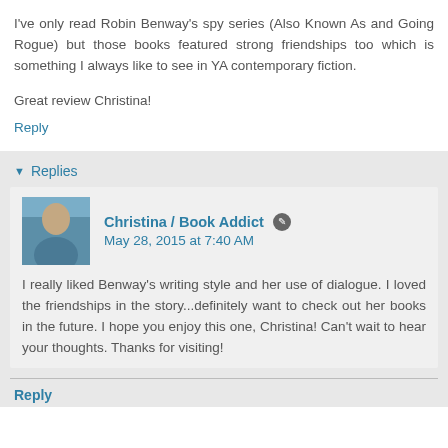I've only read Robin Benway's spy series (Also Known As and Going Rogue) but those books featured strong friendships too which is something I always like to see in YA contemporary fiction.
Great review Christina!
Reply
Replies
Christina / Book Addict  May 28, 2015 at 7:40 AM
I really liked Benway's writing style and her use of dialogue. I loved the friendships in the story...definitely want to check out her books in the future. I hope you enjoy this one, Christina! Can't wait to hear your thoughts. Thanks for visiting!
Reply